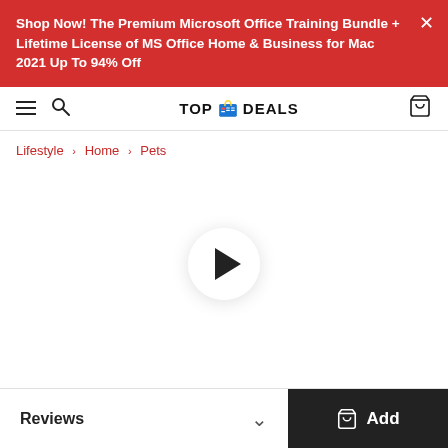Shop Now! The Premium Microsoft Office Training Bundle + Lifetime License of MS Office Home & Business for Mac 2021 Up To 94% Off
[Figure (logo): TOP DEALS logo with shopping bag icon]
Lifestyle › Home › Pets
[Figure (other): Video player area with play button]
Reviews